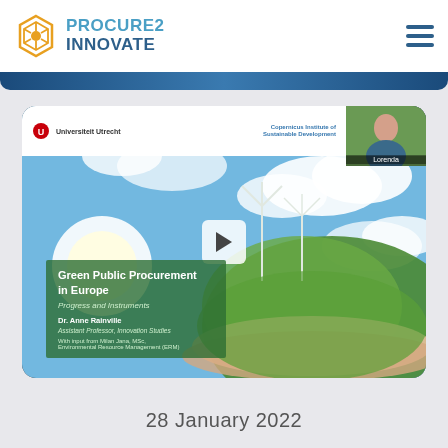[Figure (logo): Procure2Innovate logo with hexagon icon in orange/gold and text in blue]
[Figure (screenshot): Video player screenshot showing a webinar: Green Public Procurement in Europe - Progress and Instruments, by Dr. Anne Rainville, Assistant Professor, Innovation Studies, with input from Milan Jana, MSc, Environmental Resource Management (ERM). University Utrecht / Copernicus Institute of Sustainable Development. Shows a participant thumbnail in top right corner.]
28 January 2022